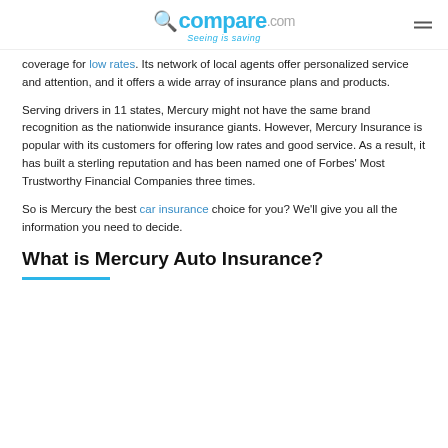compare.com Seeing is saving
coverage for low rates. Its network of local agents offer personalized service and attention, and it offers a wide array of insurance plans and products.
Serving drivers in 11 states, Mercury might not have the same brand recognition as the nationwide insurance giants. However, Mercury Insurance is popular with its customers for offering low rates and good service. As a result, it has built a sterling reputation and has been named one of Forbes' Most Trustworthy Financial Companies three times.
So is Mercury the best car insurance choice for you? We'll give you all the information you need to decide.
What is Mercury Auto Insurance?